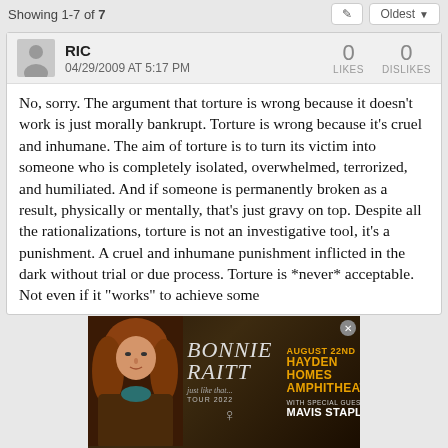Showing 1-7 of 7
RIC
04/29/2009 AT 5:17 PM
LIKES: 0  DISLIKES: 0
No, sorry. The argument that torture is wrong because it doesn't work is just morally bankrupt. Torture is wrong because it's cruel and inhumane. The aim of torture is to turn its victim into someone who is completely isolated, overwhelmed, terrorized, and humiliated. And if someone is permanently broken as a result, physically or mentally, that's just gravy on top. Despite all the rationalizations, torture is not an investigative tool, it's a punishment. A cruel and inhumane punishment inflicted in the dark without trial or due process. Torture is *never* acceptable. Not even if it "works" to achieve some
[Figure (advertisement): Bonnie Raitt concert advertisement for August 22nd at Hayden Homes Amphitheater with special guest Mavis Staples, Just Like That Tour 2022]